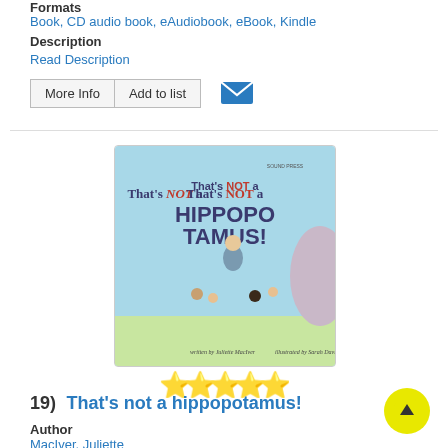Formats
Book, CD audio book, eAudiobook, eBook, Kindle
Description
Read Description
[Figure (illustration): Book cover for 'That's NOT a HIPPOPOTAMUS!' written by Juliette MacIver, illustrated by Sarah Davis. Shows a teacher and children running from a large animal on a light blue background.]
19)  That's not a hippopotamus!
Author
MacIver, Juliette